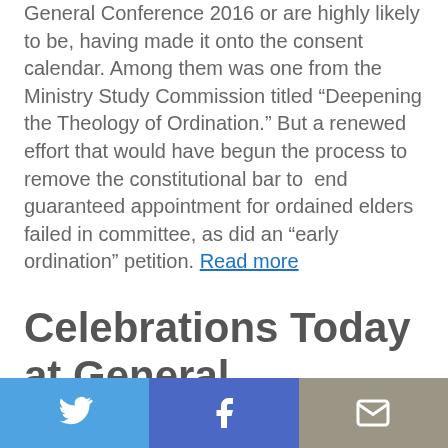General Conference 2016 or are highly likely to be, having made it onto the consent calendar. Among them was one from the Ministry Study Commission titled “Deepening the Theology of Ordination.” But a renewed effort that would have begun the process to remove the constitutional bar to end guaranteed appointment for ordained elders failed in committee, as did an “early ordination” petition. Read more
Celebrations Today at General Conference
General Conference celebrates Africa University
[Figure (photo): Blurred photo showing people, partial view at bottom of content area]
Twitter share | Facebook share | Email share